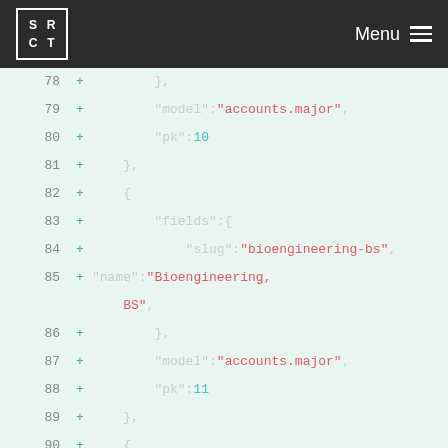SRCT | Menu
[Figure (screenshot): Code diff viewer showing JSON fixture data with line numbers 78-96, green plus signs indicating additions, with string values in red/pink and numeric values in cyan on a light green background]